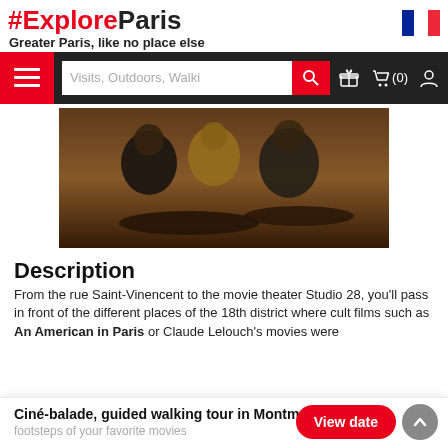#ExploreParis
Greater Paris, like no place else
[Figure (screenshot): Website navigation bar with hamburger menu, search field showing 'Visits, Outdoors, Walki', search button, gift icon, cart icon (0), and user icon]
[Figure (photo): Interior of a Parisian café or restaurant with people seated at dark wooden tables, dark paneled walls, dimly lit atmosphere]
Description
From the rue Saint-Vinencent to the movie theater Studio 28, you'll pass in front of the different places of the 18th district where cult films such as An American in Paris or Claude Lelouch's movies were
Ciné-balade, guided walking tour in Montmartre in the footsteps of your favorite movies